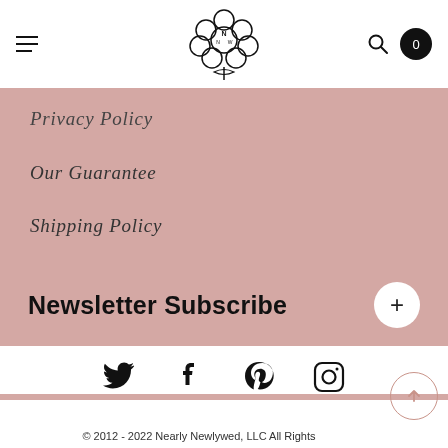[Figure (logo): Nearly Newlywed logo — flower bouquet with NNW initials in circular petals]
Privacy Policy
Our Guarantee
Shipping Policy
Newsletter Subscribe
[Figure (other): Social media icons row: Twitter, Facebook, Pinterest, Instagram]
© 2012 - 2022 Nearly Newlywed, LLC All Rights